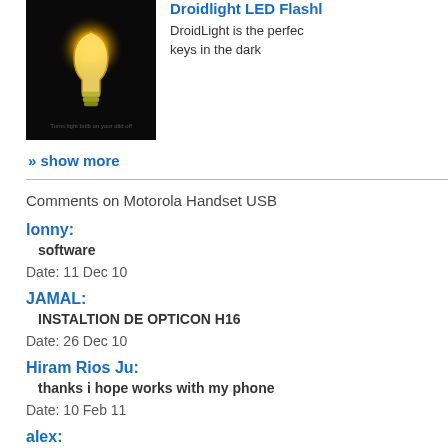[Figure (photo): Light bulb image on dark background for Droidlight LED Flashlight app]
Droidlight LED Flashl... DroidLight is the perfec... keys in the dark
» show more
Comments on Motorola Handset USB...
lonny:
software
Date: 11 Dec 10
JAMAL:
INSTALTION DE OPTICON H16
Date: 26 Dec 10
Hiram Rios Ju:
thanks i hope works with my phone
Date: 10 Feb 11
alex:
driver softwer omnia pro 5
Date: 22 Feb 11